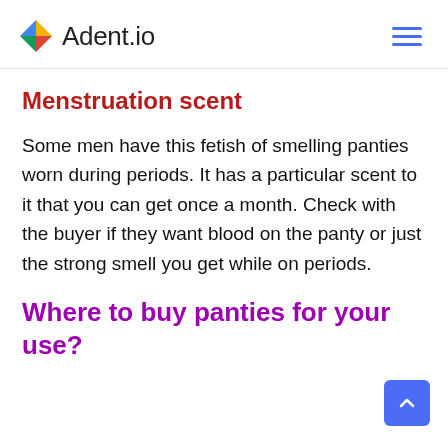Adent.io
Menstruation scent
Some men have this fetish of smelling panties worn during periods. It has a particular scent to it that you can get once a month. Check with the buyer if they want blood on the panty or just the strong smell you get while on periods.
Where to buy panties for your use?